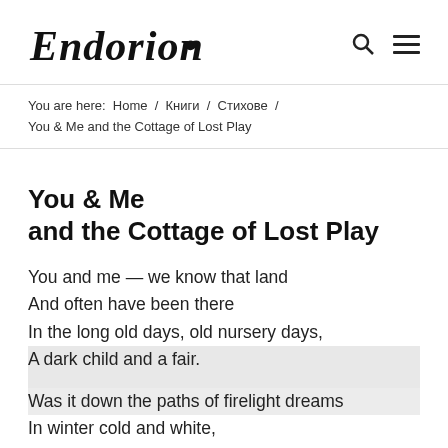Endorion – [search icon] [menu icon]
You are here: Home / Книги / Стихове / You & Me and the Cottage of Lost Play
You & Me and the Cottage of Lost Play
You and me — we know that land
And often have been there
In the long old days, old nursery days,
A dark child and a fair.

Was it down the paths of firelight dreams
In winter cold and white,
Or in the blue-spun twilit hours
Of little early tucked-up beds
In drowsy summer night.